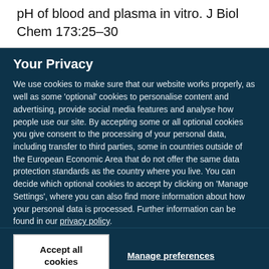pH of blood and plasma in vitro. J Biol Chem 173:25–30
Your Privacy
We use cookies to make sure that our website works properly, as well as some 'optional' cookies to personalise content and advertising, provide social media features and analyse how people use our site. By accepting some or all optional cookies you give consent to the processing of your personal data, including transfer to third parties, some in countries outside of the European Economic Area that do not offer the same data protection standards as the country where you live. You can decide which optional cookies to accept by clicking on 'Manage Settings', where you can also find more information about how your personal data is processed. Further information can be found in our privacy policy.
Accept all cookies
Manage preferences